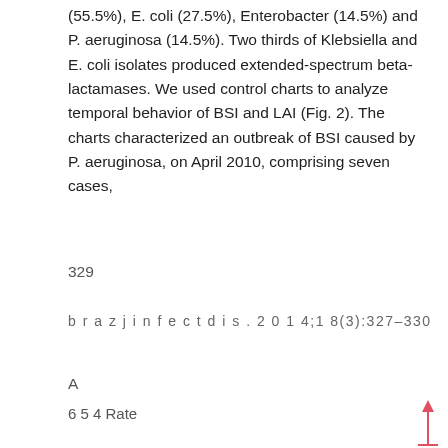(55.5%), E. coli (27.5%), Enterobacter (14.5%) and P. aeruginosa (14.5%). Two thirds of Klebsiella and E. coli isolates produced extended-spectrum beta-lactamases. We used control charts to analyze temporal behavior of BSI and LAI (Fig. 2). The charts characterized an outbreak of BSI caused by P. aeruginosa, on April 2010, comprising seven cases,
329
b r a z j i n f e c t d i s . 2 0 1 4;1 8(3):327–330
[Figure (other): Partial view of a control chart (Fig. 2A) showing y-axis labels: 6, 5, 4 Rate, 3, Mean, 2, UWL with an upward arrow indicator at right edge]